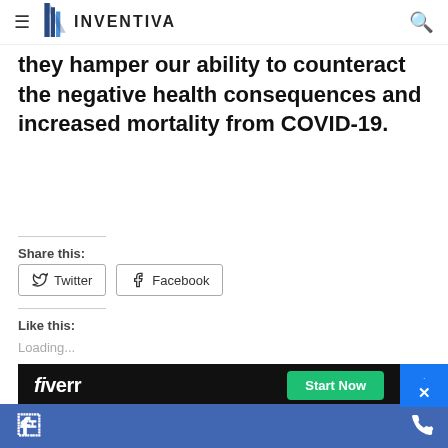INVENTIVA (navigation bar with hamburger menu and search icon)
influenza. But now, WHO and the rest of the national and international agencies must begin to communicate risk reduction strategies. Otherwise, they hamper our ability to counteract the negative health consequences and increased mortality from COVID-19.
Share this:
Twitter   Facebook
Like this:
Loading...
[Figure (screenshot): Fiverr advertisement banner with black background, fiverr logo in white, and a green 'Start Now' button]
Facebook icon (bottom bar) | Phone icon (bottom bar)